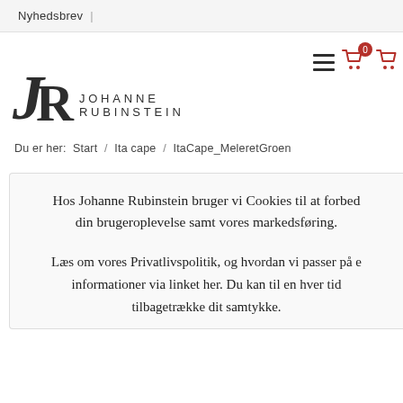Nyhedsbrev |
[Figure (logo): Johanne Rubinstein logo with stylized JR lettermark and brand name]
Du er her: Start / Ita cape / ItaCape_MeleretGroen
Hos Johanne Rubinstein bruger vi Cookies til at forbedre din brugeroplevelse samt vores markedsføring.
Læs om vores Privatlivspolitik, og hvordan vi passer på dine informationer via linket her. Du kan til en hver tid tilbagetrække dit samtykke.